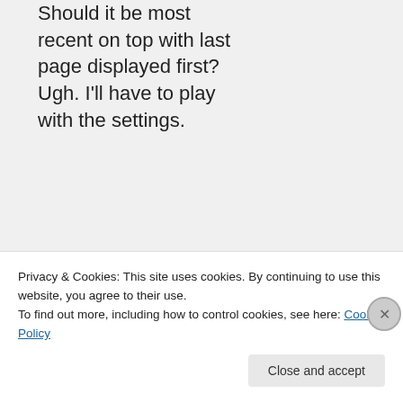Should it be most recent on top with last page displayed first? Ugh. I'll have to play with the settings.
★ Like
↩ Reply
Privacy & Cookies: This site uses cookies. By continuing to use this website, you agree to their use.
To find out more, including how to control cookies, see here: Cookie Policy
Close and accept